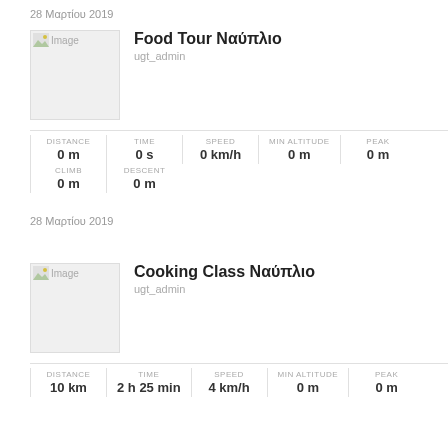28 Μαρτίου 2019
[Figure (photo): Placeholder image for Food Tour Ναύπλιο]
Food Tour Ναύπλιο
ugt_admin
| DISTANCE | TIME | SPEED | MIN ALTITUDE | PEAK |
| --- | --- | --- | --- | --- |
| 0 m | 0 s | 0 km/h | 0 m | 0 m |
| CLIMB | DESCENT |
| --- | --- |
| 0 m | 0 m |
28 Μαρτίου 2019
[Figure (photo): Placeholder image for Cooking Class Ναύπλιο]
Cooking Class Ναύπλιο
ugt_admin
| DISTANCE | TIME | SPEED | MIN ALTITUDE | PEAK |
| --- | --- | --- | --- | --- |
| 10 km | 2 h 25 min | 4 km/h | 0 m | 0 m |